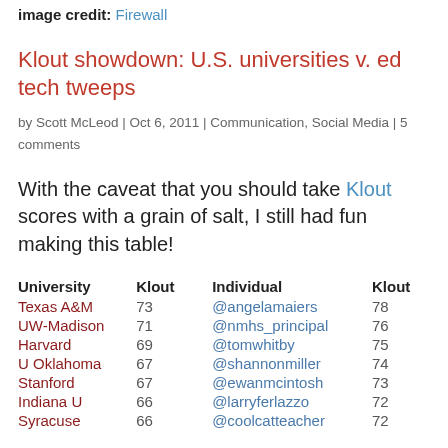image credit: Firewall
Klout showdown: U.S. universities v. ed tech tweeps
by Scott McLeod | Oct 6, 2011 | Communication, Social Media | 5 comments
With the caveat that you should take Klout scores with a grain of salt, I still had fun making this table!
| University | Klout | Individual | Klout |
| --- | --- | --- | --- |
| Texas A&M | 73 | @angelamaiers | 78 |
| UW-Madison | 71 | @nmhs_principal | 76 |
| Harvard | 69 | @tomwhitby | 75 |
| U Oklahoma | 67 | @shannonmiller | 74 |
| Stanford | 67 | @ewanmcintosh | 73 |
| Indiana U | 66 | @larryferlazzo | 72 |
| Syracuse | 66 | @coolcatteacher | 72 |